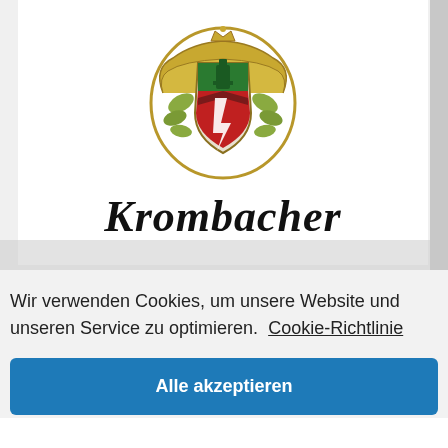[Figure (logo): Krombacher brewery logo — heraldic crest with eagle, shield (green/red/black), hop leaves, and the word 'Krombacher' in bold italic serif typeface below]
Wir verwenden Cookies, um unsere Website und unseren Service zu optimieren.  Cookie-Richtlinie
Alle akzeptieren
Nur funktionale Cookies
Einstellungen anzeigen